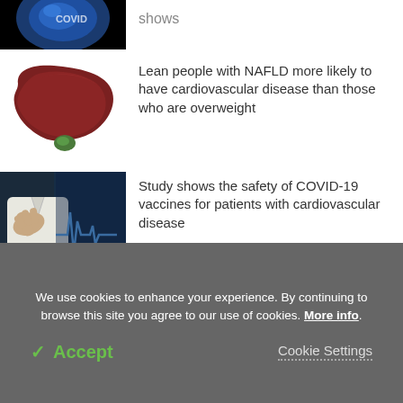[Figure (photo): Partial view of a kidney medical illustration on black background, bottom portion visible]
shows
[Figure (photo): Illustration of a human liver with gallbladder against white background]
Lean people with NAFLD more likely to have cardiovascular disease than those who are overweight
[Figure (photo): Man in white shirt clutching chest with ECG waveform overlay on blue background]
Study shows the safety of COVID-19 vaccines for patients with cardiovascular disease
We use cookies to enhance your experience. By continuing to browse this site you agree to our use of cookies. More info.
✓ Accept
Cookie Settings